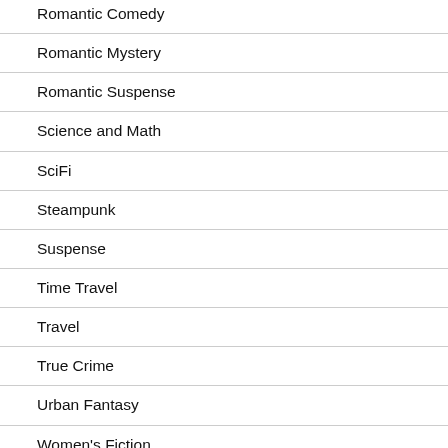Romantic Comedy
Romantic Mystery
Romantic Suspense
Science and Math
SciFi
Steampunk
Suspense
Time Travel
Travel
True Crime
Urban Fantasy
Women's Fiction
Women's Health